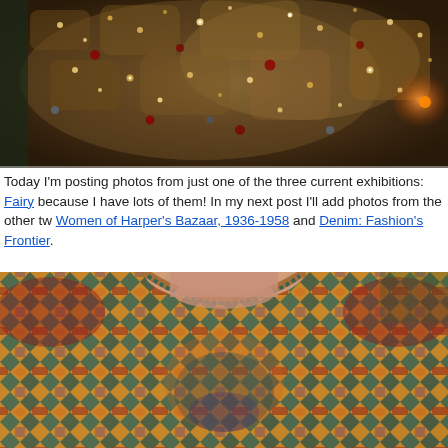[Figure (photo): Close-up photograph of a heavily embellished garment with beading, sequins, and intricate embroidery in bronze/gold tones with sparkling details]
Today I'm posting photos from just one of the three current exhibitions: Fairy because I have lots of them! In my next post I'll add photos from the other tw Women of Harper's Bazaar, 1936-1958 and Denim: Fashion's Frontier.
[Figure (photo): Close-up photograph of a colorful patterned knit sweater with intricate multi-color Fair Isle or jacquard-style design in orange, teal, red, purple, and blue on a cream/tan background, worn by a person]